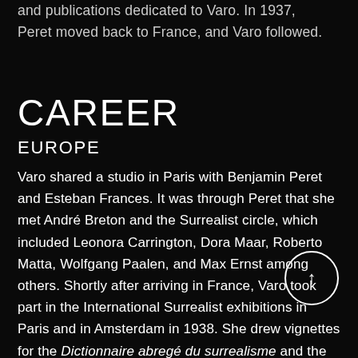and publications dedicated to Varo. In 1937, Peret moved back to France, and Varo followed.
CAREER
EUROPE
Varo shared a studio in Paris with Benjamin Peret and Esteban Frances. It was through Peret that she met André Breton and the Surrealist circle, which included Leonora Carrington, Dora Maar, Roberto Matta, Wolfgang Paalen, and Max Ernst among others. Shortly after arriving in France, Varo took part in the International Surrealist exhibitions in Paris and in Amsterdam in 1938. She drew vignettes for the Dictionnaire abregé du surrealisme and the magazines Traiectoire du